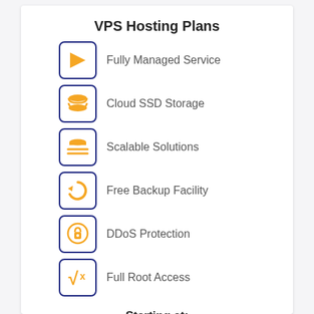VPS Hosting Plans
Fully Managed Service
Cloud SSD Storage
Scalable Solutions
Free Backup Facility
DDoS Protection
Full Root Access
Starting at:
₹280/mon
SEE DETAILS